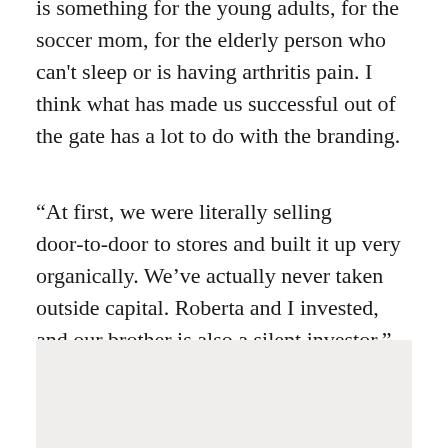is something for the young adults, for the soccer mom, for the elderly person who can't sleep or is having arthritis pain. I think what has made us successful out of the gate has a lot to do with the branding.
“At first, we were literally selling door-to-door to stores and built it up very organically. We’ve actually never taken outside capital. Roberta and I invested, and our brother is also a silent investor.”
[Figure (photo): A light gray/beige rectangular image area, partially visible at the bottom of the page.]